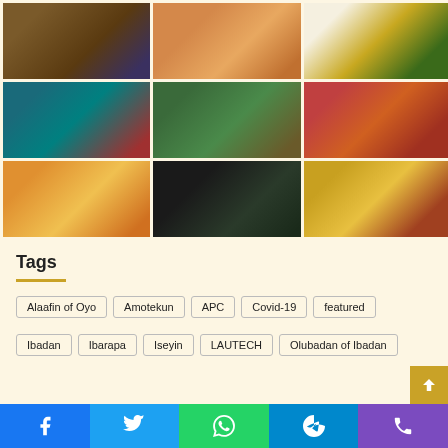[Figure (photo): 3x3 grid of news photos: gavel/court, people at event, coat of arms, group of men, masked woman on plane, traditional ruler in colorful attire, man in pink shirt, person in car, Nigerian Senate chamber]
Tags
Alaafin of Oyo
Amotekun
APC
Covid-19
featured
Ibadan
Ibarapa
Iseyin
LAUTECH
Olubadan of Ibadan